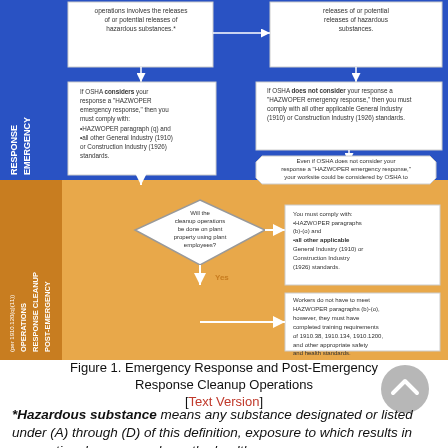[Figure (flowchart): Flowchart showing Emergency Response (blue top section) and Post-Emergency Response Cleanup Operations (orange bottom section). Emergency response section shows decision boxes about OSHA HAZWOPER compliance. Post-emergency section shows a diamond decision node asking if cleanup operations will be done on plant property using plant employees, with Yes/No branches leading to compliance requirement boxes.]
Figure 1. Emergency Response and Post-Emergency Response Cleanup Operations [Text Version]
*Hazardous substance means any substance designated or listed under (A) through (D) of this definition, exposure to which results in occupational exposure above the health...